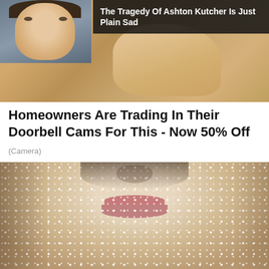[Figure (photo): Advertisement image showing a person's face partially obscured against a sandy/textured background, with a portrait thumbnail of Ashton Kutcher in top-left corner]
The Tragedy Of Ashton Kutcher Is Just Plain Sad
Homeowners Are Trading In Their Doorbell Cams For This - Now 50% Off
(Camera)
[Figure (photo): Close-up photograph of a person's lower face covered in salt or sugar crystals, with lips visible]